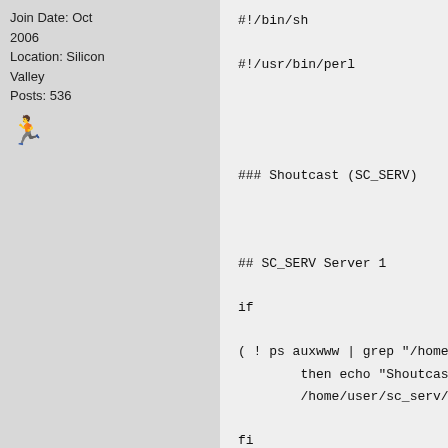Join Date: Oct 2006
Location: Silicon Valley
Posts: 536
🏃
#!/bin/sh

#!/usr/bin/perl




### Shoutcast (SC_SERV)



## SC_SERV Server 1

if

( ! ps auxwww | grep "/home/user/sc_se
        then echo "Shoutcast not runni
        /home/user/sc_serv/sc_serv /ho

fi